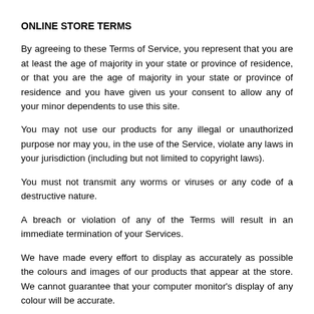ONLINE STORE TERMS
By agreeing to these Terms of Service, you represent that you are at least the age of majority in your state or province of residence, or that you are the age of majority in your state or province of residence and you have given us your consent to allow any of your minor dependents to use this site.
You may not use our products for any illegal or unauthorized purpose nor may you, in the use of the Service, violate any laws in your jurisdiction (including but not limited to copyright laws).
You must not transmit any worms or viruses or any code of a destructive nature.
A breach or violation of any of the Terms will result in an immediate termination of your Services.
We have made every effort to display as accurately as possible the colours and images of our products that appear at the store. We cannot guarantee that your computer monitor's display of any colour will be accurate.